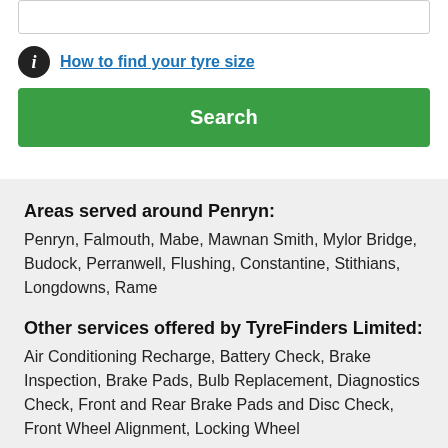How to find your tyre size
Search
Areas served around Penryn:
Penryn, Falmouth, Mabe, Mawnan Smith, Mylor Bridge, Budock, Perranwell, Flushing, Constantine, Stithians, Longdowns, Rame
Other services offered by TyreFinders Limited:
Air Conditioning Recharge, Battery Check, Brake Inspection, Brake Pads, Bulb Replacement, Diagnostics Check, Front and Rear Brake Pads and Disc Check, Front Wheel Alignment, Locking Wheel